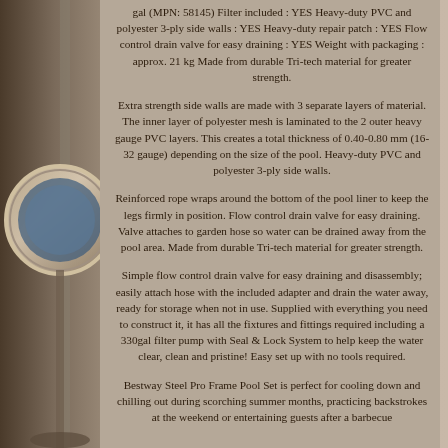gal (MPN: 58145) Filter included : YES Heavy-duty PVC and polyester 3-ply side walls : YES Heavy-duty repair patch : YES Flow control drain valve for easy draining : YES Weight with packaging : approx. 21 kg Made from durable Tri-tech material for greater strength.
Extra strength side walls are made with 3 separate layers of material. The inner layer of polyester mesh is laminated to the 2 outer heavy gauge PVC layers. This creates a total thickness of 0.40-0.80 mm (16-32 gauge) depending on the size of the pool. Heavy-duty PVC and polyester 3-ply side walls.
Reinforced rope wraps around the bottom of the pool liner to keep the legs firmly in position. Flow control drain valve for easy draining. Valve attaches to garden hose so water can be drained away from the pool area. Made from durable Tri-tech material for greater strength.
Simple flow control drain valve for easy draining and disassembly; easily attach hose with the included adapter and drain the water away, ready for storage when not in use. Supplied with everything you need to construct it, it has all the fixtures and fittings required including a 330gal filter pump with Seal & Lock System to help keep the water clear, clean and pristine! Easy set up with no tools required.
Bestway Steel Pro Frame Pool Set is perfect for cooling down and chilling out during scorching summer months, practicing backstrokes at the weekend or entertaining guests after a barbecue